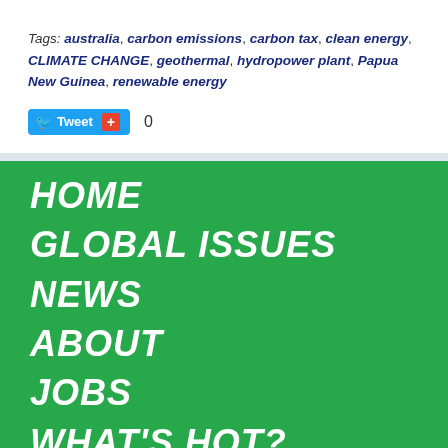Tags: australia, carbon emissions, carbon tax, clean energy, CLIMATE CHANGE, geothermal, hydropower plant, Papua New Guinea, renewable energy
[Figure (infographic): Twitter Tweet button with +1 social share button and count of 0]
HOME
GLOBAL ISSUES
NEWS
ABOUT
JOBS
WHAT'S HOT?